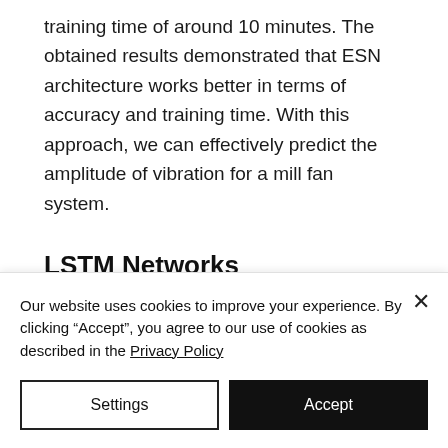training time of around 10 minutes. The obtained results demonstrated that ESN architecture works better in terms of accuracy and training time. With this approach, we can effectively predict the amplitude of vibration for a mill fan system.
LSTM Networks
This is an expansion of the idea of a Recurrent Neural Network. Long Short
Our website uses cookies to improve your experience. By clicking “Accept”, you agree to our use of cookies as described in the Privacy Policy